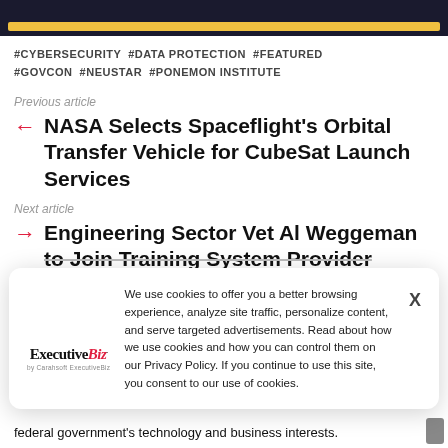[Figure (screenshot): Top dark navy banner with a gold/yellow horizontal bar at the bottom]
#CYBERSECURITY #DATA PROTECTION #FEATURED #GOVCON #NEUSTAR #PONEMON INSTITUTE
Previous article
NASA Selects Spaceflight's Orbital Transfer Vehicle for CubeSat Launch Services
Next article
Engineering Sector Vet Al Weggeman to Join Training System Provider
We use cookies to offer you a better browsing experience, analyze site traffic, personalize content, and serve targeted advertisements. Read about how we use cookies and how you can control them on our Privacy Policy. If you continue to use this site, you consent to our use of cookies.
[Figure (logo): ExecutiveBiz logo with tagline 'by Carahsoft ExecutiveBiz']
federal government's technology and business interests.